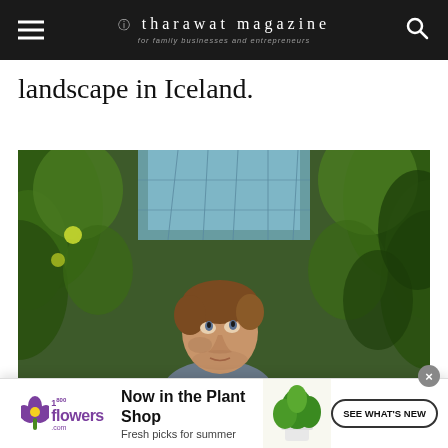tharawat magazine — for family businesses and entrepreneurs
landscape in Iceland.
[Figure (photo): A man standing in a lush greenhouse surrounded by tall green plants and tomato vines, looking upward toward the glass ceiling structure above.]
[Figure (photo): Advertisement banner: 1-800flowers.com — Now in the Plant Shop, Fresh picks for summer. SEE WHAT'S NEW button with potted plant image.]